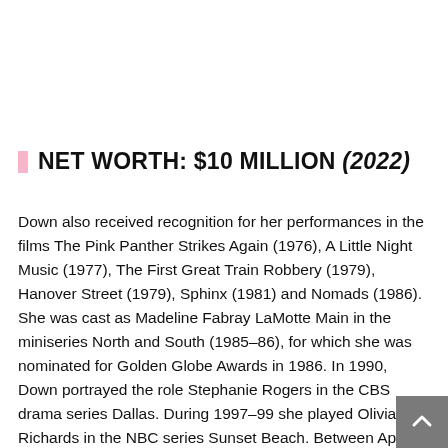NET WORTH: $10 MILLION (2022)
Down also received recognition for her performances in the films The Pink Panther Strikes Again (1976), A Little Night Music (1977), The First Great Train Robbery (1979), Hanover Street (1979), Sphinx (1981) and Nomads (1986). She was cast as Madeline Fabray LaMotte Main in the miniseries North and South (1985–86), for which she was nominated for Golden Globe Awards in 1986. In 1990, Down portrayed the role Stephanie Rogers in the CBS drama series Dallas. During 1997–99 she played Olivia Richards in the NBC series Sunset Beach. Between April 2003 and February 2012, she was cast as Jackie Marone Knight in the CBS daytime soap opera The Bold and the Beautiful. Down's private life has often been a field day for the tabloids. She was romantically linked with screenwriter-director Bruce Robinson for nearly a decade before breaking it off with him to marry an obscure assistant director from Argentina. After less than a year of